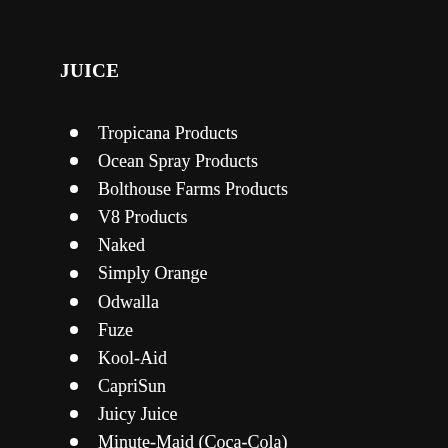JUICE
Tropicana Products
Ocean Spray Products
Bolthouse Farms Products
V8 Products
Naked
Simply Orange
Odwalla
Fuze
Kool-Aid
CapriSun
Juicy Juice
Minute-Maid (Coca-Cola)